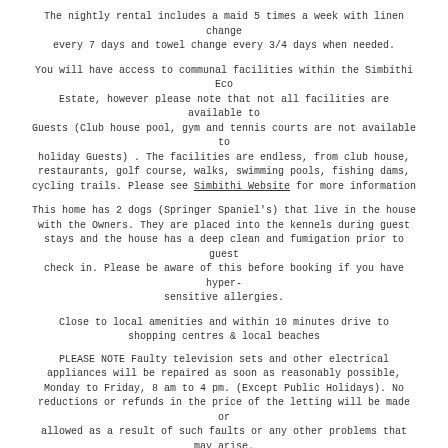The nightly rental includes a maid 5 times a week with linen change every 7 days and towel change every 3/4 days when needed.
You will have access to communal facilities within the Simbithi Eco Estate, however please note that not all facilities are available to Guests (Club house pool, gym and tennis courts are not available to holiday Guests) . The facilities are endless, from club house, restaurants, golf course, walks, swimming pools, fishing dams, cycling trails. Please see Simbithi Website for more information
This home has 2 dogs (Springer Spaniel's) that live in the house with the Owners. They are placed into the kennels during guest stays and the house has a deep clean and fumigation prior to guest check in. Please be aware of this before booking if you have hyper-sensitive allergies.
Close to local amenities and within 10 minutes drive to shopping centres & local beaches
PLEASE NOTE Faulty television sets and other electrical appliances will be repaired as soon as reasonably possible, Monday to Friday, 8 am to 4 pm. (Except Public Holidays). No reductions or refunds in the price of the letting will be made or allowed as a result of such faults or any other problems that may arise.
No Pets allowed.
Please note ...